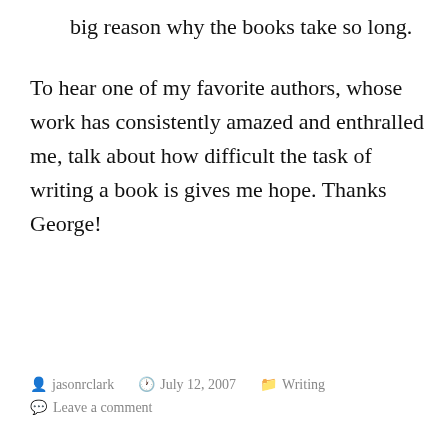big reason why the books take so long.
To hear one of my favorite authors, whose work has consistently amazed and enthralled me, talk about how difficult the task of writing a book is gives me hope. Thanks George!
jasonrclark   July 12, 2007   Writing   Leave a comment